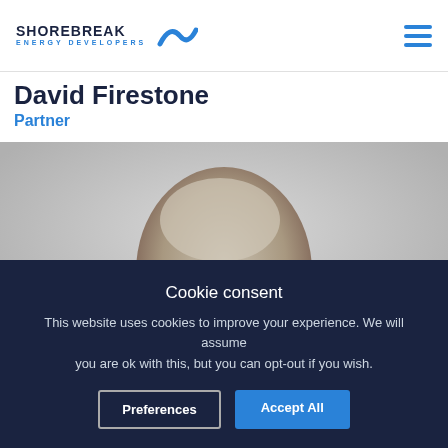SHOREBREAK ENERGY DEVELOPERS
David Firestone
Partner
[Figure (photo): Black and white headshot photo of David Firestone, a bald man looking directly at camera]
Cookie consent
This website uses cookies to improve your experience. We will assume you are ok with this, but you can opt-out if you wish.